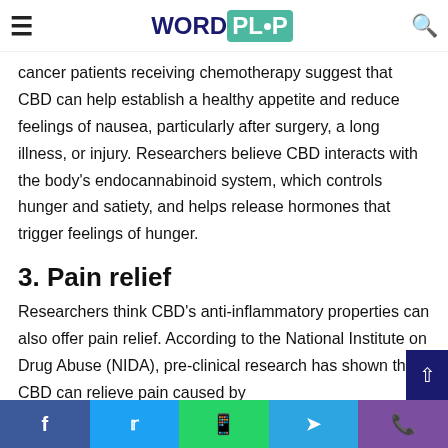WORDPLOP
cancer patients receiving chemotherapy suggest that CBD can help establish a healthy appetite and reduce feelings of nausea, particularly after surgery, a long illness, or injury. Researchers believe CBD interacts with the body's endocannabinoid system, which controls hunger and satiety, and helps release hormones that trigger feelings of hunger.
3. Pain relief
Researchers think CBD's anti-inflammatory properties can also offer pain relief. According to the National Institute on Drug Abuse (NIDA), pre-clinical research has shown that CBD can relieve pain caused by conditions like arthritis, cancer pain, and multiple